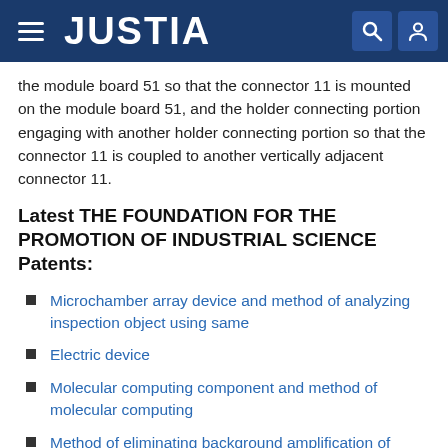JUSTIA
the module board 51 so that the connector 11 is mounted on the module board 51, and the holder connecting portion engaging with another holder connecting portion so that the connector 11 is coupled to another vertically adjacent connector 11.
Latest THE FOUNDATION FOR THE PROMOTION OF INDUSTRIAL SCIENCE Patents:
Microchamber array device and method of analyzing inspection object using same
Electric device
Molecular computing component and method of molecular computing
Method of eliminating background amplification of nucleic acid targets